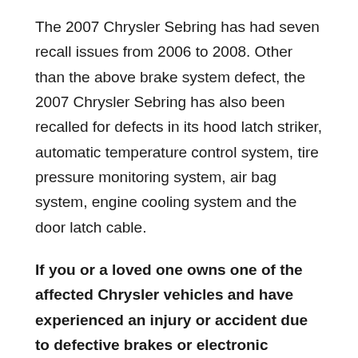The 2007 Chrysler Sebring has had seven recall issues from 2006 to 2008. Other than the above brake system defect, the 2007 Chrysler Sebring has also been recalled for defects in its hood latch striker, automatic temperature control system, tire pressure monitoring system, air bag system, engine cooling system and the door latch cable.
If you or a loved one owns one of the affected Chrysler vehicles and have experienced an injury or accident due to defective brakes or electronic control systems, contact Newsome Law Firm and